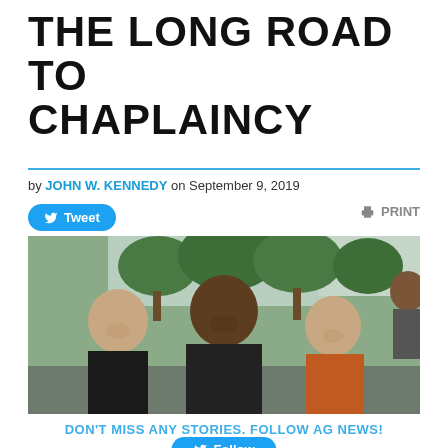THE LONG ROAD TO CHAPLAINCY
by JOHN W. KENNEDY on September 9, 2019
[Figure (photo): Three people smiling together indoors with trees and large windows in the background. Left: a man in a black t-shirt. Center: a tall Black man in a dark long-sleeve shirt. Right: an Asian woman in an orange top.]
DON'T MISS ANY STORIES. FOLLOW AG NEWS!